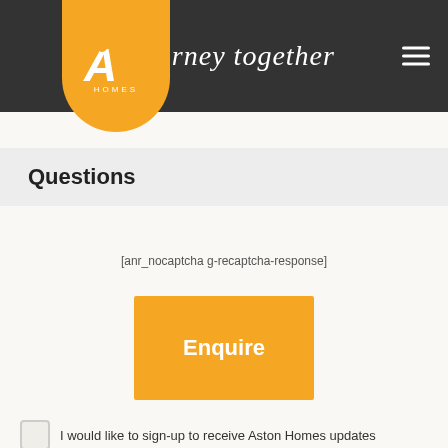Aston Homes — journey together
Questions
[anr_nocaptcha g-recaptcha-response]
Enquire
I would like to sign-up to receive Aston Homes updates